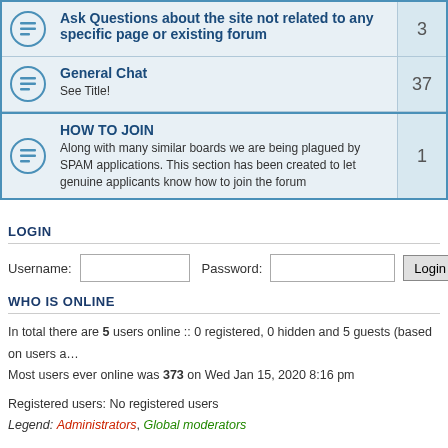|  | Forum | Posts |
| --- | --- | --- |
| [icon] | Ask Questions about the site not related to any specific page or existing forum | 3 |
| [icon] | General Chat
See Title! | 37 |
| [icon] | HOW TO JOIN
Along with many similar boards we are being plagued by SPAM applications. This section has been created to let genuine applicants know how to join the forum | 1 |
LOGIN
Username: [input] Password: [input] [Login button]
WHO IS ONLINE
In total there are 5 users online :: 0 registered, 0 hidden and 5 guests (based on users a…
Most users ever online was 373 on Wed Jan 15, 2020 8:16 pm
Registered users: No registered users
Legend: Administrators, Global moderators
STATISTICS
Total posts 1226 • Total topics 224 • Total members 220 • Our newest member satsujin
Board index | The team • Delete a…
Powered by phpBB® Forum Software © phpBB Gr…